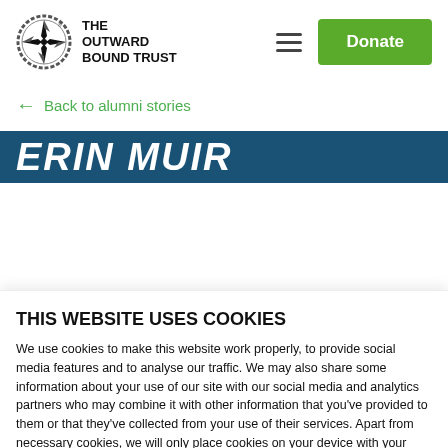[Figure (logo): The Outward Bound Trust logo — compass rose in a rope circle with 'THE OUTWARD BOUND TRUST' text]
← Back to alumni stories
[Figure (screenshot): Partial banner showing 'ERIN MUIR' text in white italic on dark blue background]
THIS WEBSITE USES COOKIES
We use cookies to make this website work properly, to provide social media features and to analyse our traffic. We may also share some information about your use of our site with our social media and analytics partners who may combine it with other information that you've provided to them or that they've collected from your use of their services. Apart from necessary cookies, we will only place cookies on your device with your consent. You can see more information about how we use your personal data on this website at: https://www.outwardbound.org.uk/your-personal-data
Allow all cookies
Allow chosen cookies